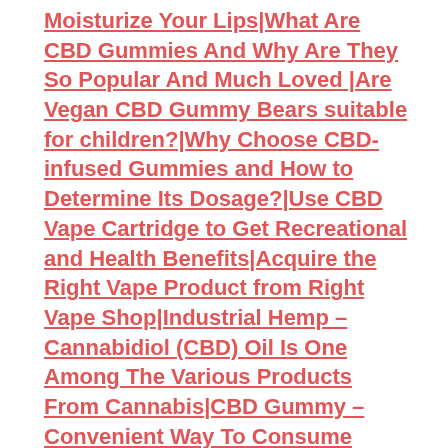Moisturize Your Lips|What Are CBD Gummies And Why Are They So Popular And Much Loved |Are Vegan CBD Gummy Bears suitable for children?|Why Choose CBD-infused Gummies and How to Determine Its Dosage?|Use CBD Vape Cartridge to Get Recreational and Health Benefits|Acquire the Right Vape Product from Right Vape Shop|Industrial Hemp – Cannabidiol (CBD) Oil Is One Among The Various Products From Cannabis|CBD Gummy – Convenient Way To Consume Cannabidiol|Reason for Adding CBD Oil to Pet's Daily Diet|How Does Regular Consumption Of Sugar Destroy Your Sleep|Tips To Consider While Finding The Best CBD E-Liquid|What You Should Know About CBD Honey Stick Before Buying?|Things You Can Expect To Happen In The CBD Industry In 2021|Few Most Popular Way of Dosing CBD that You Should Know|How To Identify Fake CBD